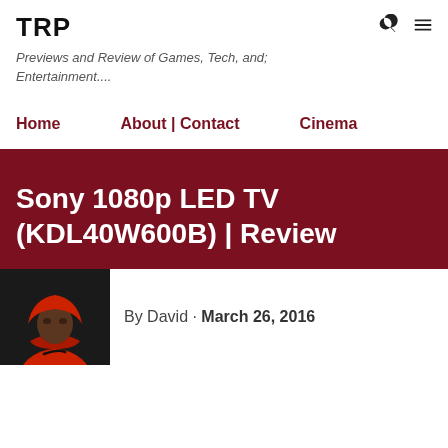TRP
Previews and Review of Games, Tech, and; Entertainment....
Home    About | Contact    Cinema
Sony 1080p LED TV (KDL40W600B) | Review
By David · March 26, 2016